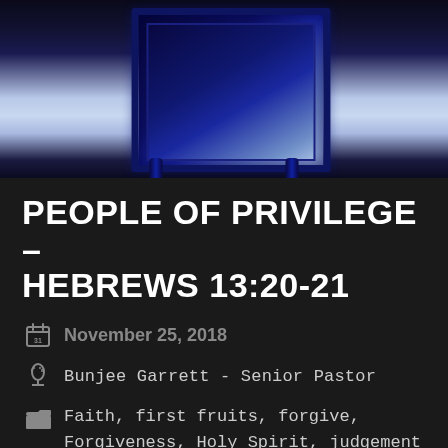[Figure (photo): A blue-toned photo of what appears to be an ornate mirror or picture frame with decorative legs, photographed against a blue-tinted background]
PEOPLE OF PRIVILEGE – HEBREWS 13:20-21
November 25, 2018
Bunjee Garrett - Senior Pastor
Faith, first fruits, forgive, Forgiveness, Holy Spirit, judgement day, righteous, Salvation, sin, submit